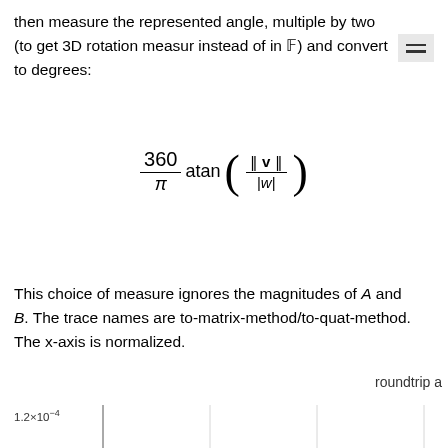then measure the represented angle, multiple by two (to get 3D rotation measure instead of in ℍ) and convert to degrees:
This choice of measure ignores the magnitudes of A and B. The trace names are to-matrix-method/to-quat-method. The x-axis is normalized.
roundtrip a
[Figure (continuous-plot): Partial view of a chart with y-axis label 1.2×10⁻⁴ visible at the bottom left, with vertical gridlines visible]